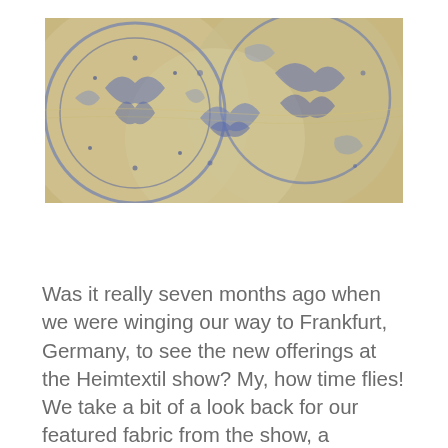[Figure (photo): Close-up photograph of ornate Baroque-inspired fabric featuring blue and gold/cream paisley and floral patterns, reminiscent of decorative ceramic or textile art with intricate swirling motifs.]
Was it really seven months ago when we were winging our way to Frankfurt, Germany, to see the new offerings at the Heimtextil show? My, how time flies! We take a bit of a look back for our featured fabric from the show, a Baroque-inspired pattern by Italian manufacturer S & B Silk & Beyond.